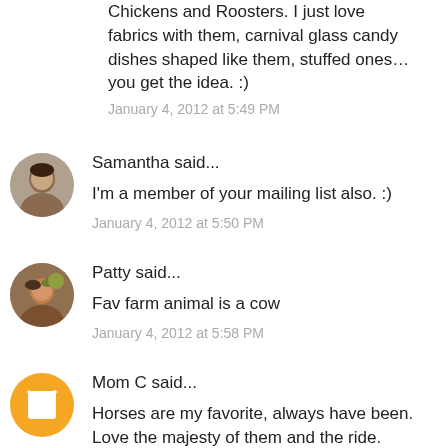Chickens and Roosters. I just love fabrics with them, carnival glass candy dishes shaped like them, stuffed ones… you get the idea. :)
January 4, 2012 at 5:49 PM
Samantha said...
I'm a member of your mailing list also. :)
January 4, 2012 at 5:50 PM
Patty said...
Fav farm animal is a cow
January 4, 2012 at 5:58 PM
Mom C said...
Horses are my favorite, always have been. Love the majesty of them and the ride.
January 4, 2012 at 6:02 PM